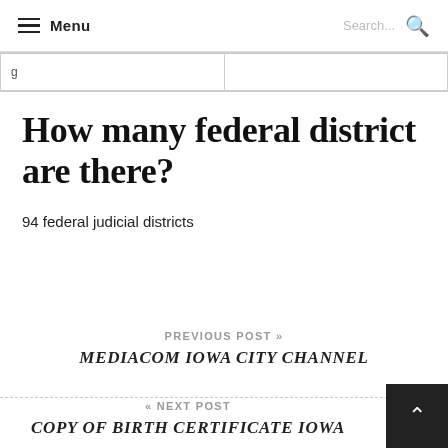Menu  Search...
|  |  |
How many federal district are there?
94 federal judicial districts
PREVIOUS POST »
MEDIACOM IOWA CITY CHANNEL
« NEXT POST
COPY OF BIRTH CERTIFICATE IOWA